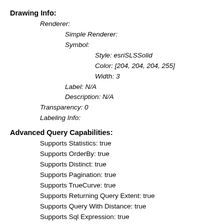Drawing Info:
Renderer:
  Simple Renderer:
  Symbol:
    Style: esriSLSSolid
    Color: [204, 204, 204, 255]
    Width: 3
  Label: N/A
  Description: N/A
Transparency: 0
Labeling Info:
Advanced Query Capabilities:
Supports Statistics: true
Supports OrderBy: true
Supports Distinct: true
Supports Pagination: true
Supports TrueCurve: true
Supports Returning Query Extent: true
Supports Query With Distance: true
Supports Sql Expression: true
Supports Query With ResultType: true
Supports Returning Geometry Centroid: false
HasZ: false